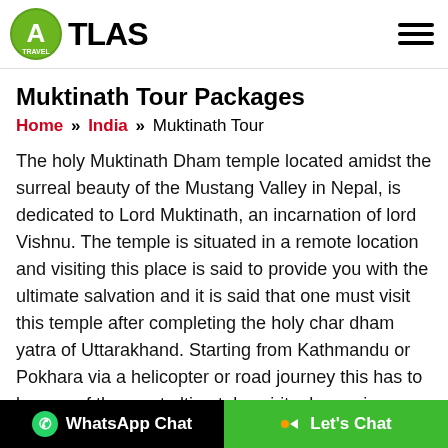ATLAS Travel — logo and navigation
Muktinath Tour Packages
Home » India » Muktinath Tour
The holy Muktinath Dham temple located amidst the surreal beauty of the Mustang Valley in Nepal, is dedicated to Lord Muktinath, an incarnation of lord Vishnu. The temple is situated in a remote location and visiting this place is said to provide you with the ultimate salvation and it is said that one must visit this temple after completing the holy char dham yatra of Uttarakhand. Starting from Kathmandu or Pokhara via a helicopter or road journey this has to be one of the most ultimately spiritual experience you will ever have. Taking a holy bath under the freezing cold water of Muktidhara has to be an experience to remember.
WhatsApp Chat | Let's Chat